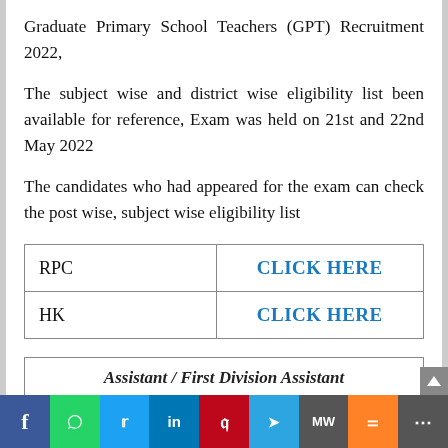Graduate Primary School Teachers (GPT) Recruitment 2022,
The subject wise and district wise eligibility list been available for reference, Exam was held on 21st and 22nd May 2022
The candidates who had appeared for the exam can check the post wise, subject wise eligibility list
|  |  |
| --- | --- |
| RPC | CLICK HERE |
| HK | CLICK HERE |
| Assistant / First Division Assistant |
f | whatsapp | twitter | in | pinterest | telegram | MW | mix | more